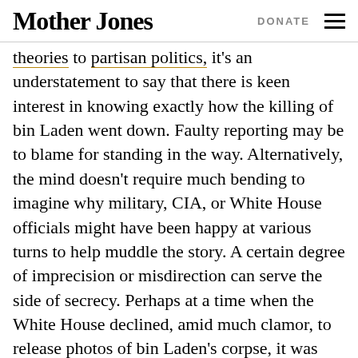Mother Jones   DONATE
theories to partisan politics, it's an understatement to say that there is keen interest in knowing exactly how the killing of bin Laden went down. Faulty reporting may be to blame for standing in the way. Alternatively, the mind doesn't require much bending to imagine why military, CIA, or White House officials might have been happy at various turns to help muddle the story. A certain degree of imprecision or misdirection can serve the side of secrecy. Perhaps at a time when the White House declined, amid much clamor, to release photos of bin Laden's corpse, it was useful to let the world know that it also had video footage of the whole operation. Perhaps at a later point it was useful to